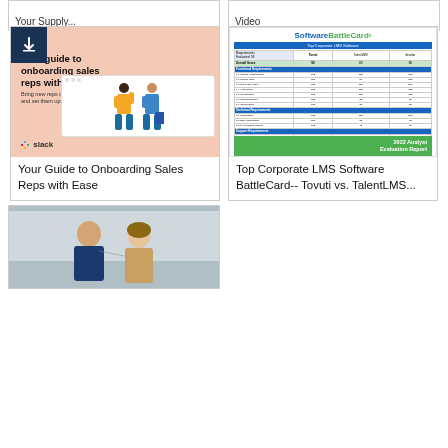[Figure (other): Partial top of a card showing truncated title text 'Your Supply...' on the left]
[Figure (other): Partial top of a card showing truncated title text 'Video' on the right]
[Figure (illustration): Slack guide cover: salmon/pink background with bold text 'Your guide to onboarding sales reps with ease', two illustrated figures, Slack logo, download icon]
Your Guide to Onboarding Sales Reps with Ease
[Figure (screenshot): SoftwareBattleCard comparison chart for Top Corporate LMS Software showing Tovuti vs. TalentLMS vs. Docebo, 2022 Analyst Evaluation Report]
Top Corporate LMS Software BattleCard-- Tovuti vs. TalentLMS...
[Figure (photo): Photo of two people (man and woman) in an office setting, partially visible at bottom of page]